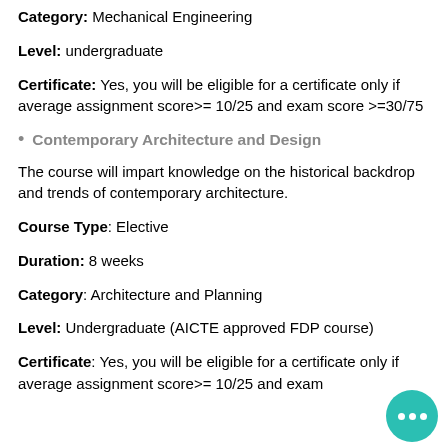Category: Mechanical Engineering
Level: undergraduate
Certificate: Yes, you will be eligible for a certificate only if average assignment score>= 10/25 and exam score >=30/75
Contemporary Architecture and Design
The course will impart knowledge on the historical backdrop and trends of contemporary architecture.
Course Type: Elective
Duration: 8 weeks
Category: Architecture and Planning
Level: Undergraduate (AICTE approved FDP course)
Certificate: Yes, you will be eligible for a certificate only if average assignment score>= 10/25 and exam